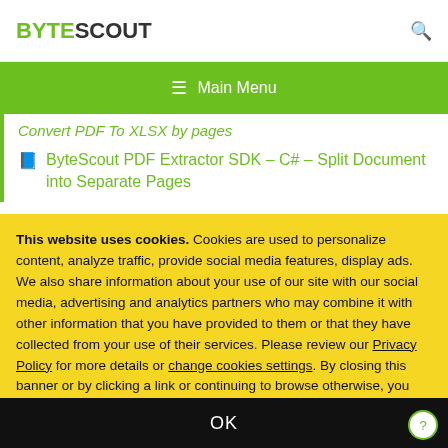BYTESCOUT
≡ Main Menu
Convert PDF To XLSX by pages
ByteScout PDF Extractor SDK – C# – Split Document into Separate Pages
This website uses cookies. Cookies are used to personalize content, analyze traffic, provide social media features, display ads. We also share information about your use of our site with our social media, advertising and analytics partners who may combine it with other information that you have provided to them or that they have collected from your use of their services. Please review our Privacy Policy for more details or change cookies settings. By closing this banner or by clicking a link or continuing to browse otherwise, you consent to our cookies.
OK